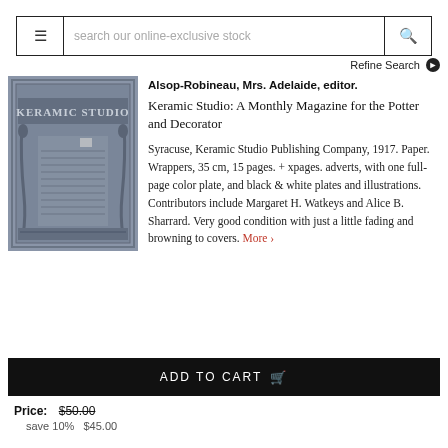search our online-exclusive stock
Refine Search
[Figure (photo): Cover of Keramic Studio magazine, dark blue/grey illustrated cover with Art Nouveau style border design and text 'KERAMIC STUDIO']
Alsop-Robineau, Mrs. Adelaide, editor. Keramic Studio: A Monthly Magazine for the Potter and Decorator
Syracuse, Keramic Studio Publishing Company, 1917. Paper. Wrappers, 35 cm, 15 pages. + xpages. adverts, with one full-page color plate, and black & white plates and illustrations. Contributors include Margaret H. Watkeys and Alice B. Sharrard. Very good condition with just a little fading and browning to covers. More >
ADD TO CART
Price: $50.00 save 10% $45.00